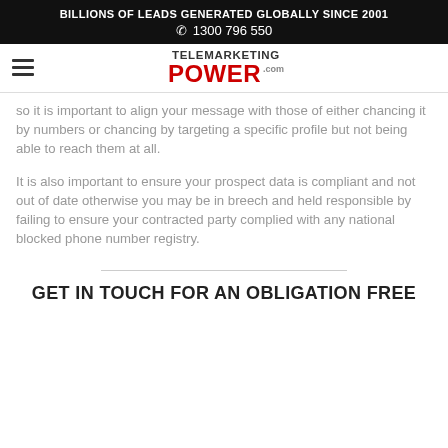BILLIONS OF LEADS GENERATED GLOBALLY SINCE 2001
☎ 1300 796 550
[Figure (logo): Telemarketing Power .com logo with hamburger menu icon on the left]
so it is important to align your message with those of either chancing it by numbers or chancing by targeting a specific profile but not being able to reach them at all.
It is also important to ensure your prospect data is compliant and not out of date otherwise you may be in breech and held responsible by failing to ensure your contracted party complied with any national blocked phone number registry.
GET IN TOUCH FOR AN OBLIGATION FREE